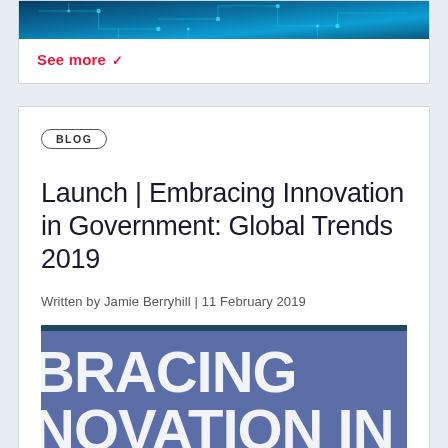[Figure (photo): Circuit board / technology themed banner image in teal and blue tones, partially visible at top of page]
See more ∨
BLOG
Launch | Embracing Innovation in Government: Global Trends 2019
Written by Jamie Berryhill | 11 February 2019
[Figure (photo): Book cover for 'Embracing Innovation in Government: Global Trends 2019' — purple/blue background with large white bold text reading 'BRACING NOVATION IN' (partially cropped)]